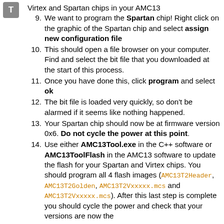[Figure (other): Small grey square icon with letter T]
Virtex and Spartan chips in your AMC13
9. We want to program the Spartan chip! Right click on the graphic of the Spartan chip and select assign new configuration file
10. This should open a file browser on your computer. Find and select the bit file that you downloaded at the start of this process.
11. Once you have done this, click program and select ok
12. The bit file is loaded very quickly, so don't be alarmed if it seems like nothing happened.
13. Your Spartan chip should now be at firmware version 0x6. Do not cycle the power at this point.
14. Use either AMC13Tool.exe in the C++ software or AMC13ToolFlash in the AMC13 software to update the flash for your Spartan and Virtex chips. You should program all 4 flash images (AMC13T2Header, AMC13T2Golden, AMC13T2Vxxxxx.mcs and AMC13T2Vxxxxx.mcs). After this last step is complete you should cycle the power and check that your versions are now the